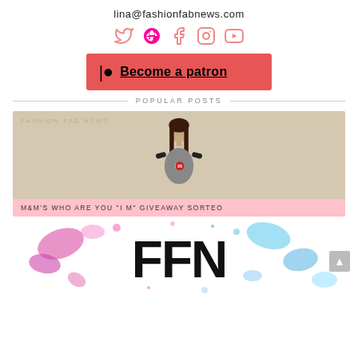lina@fashionfabnews.com
[Figure (infographic): Social media icons: Twitter, Pinterest, Facebook, Instagram, YouTube in pink/salmon color]
[Figure (infographic): Patreon button: red/coral background with Patreon logo icon and text 'Become a patron' underlined]
POPULAR POSTS
[Figure (photo): Young woman with long dark hair wearing a gray M&M 'I heart M' t-shirt, arms spread wide, standing against a cream wall. Watermark: Fashion Fab News.]
M&M'S WHO ARE YOU "I M" GIVEAWAY SORTEO
[Figure (logo): FFN logo - large bold black letters FFN on white background with colorful pink and blue paint splatters]